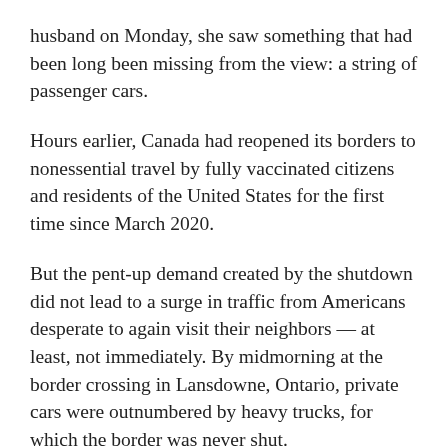husband on Monday, she saw something that had been long been missing from the view: a string of passenger cars.
Hours earlier, Canada had reopened its borders to nonessential travel by fully vaccinated citizens and residents of the United States for the first time since March 2020.
But the pent-up demand created by the shutdown did not lead to a surge in traffic from Americans desperate to again visit their neighbors — at least, not immediately. By midmorning at the border crossing in Lansdowne, Ontario, private cars were outnumbered by heavy trucks, for which the border was never shut.
“It’s of course more than we had in two years,” Ms. Linckh said from the top deck of the 1000 Islands Tower, which sits on a Canadian island in the middle of the St.